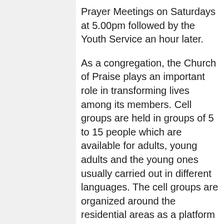Prayer Meetings on Saturdays at 5.00pm followed by the Youth Service an hour later.
As a congregation, the Church of Praise plays an important role in transforming lives among its members. Cell groups are held in groups of 5 to 15 people which are available for adults, young adults and the young ones usually carried out in different languages. The cell groups are organized around the residential areas as a platform to support each other through fellowship, prayer and other activities as they come